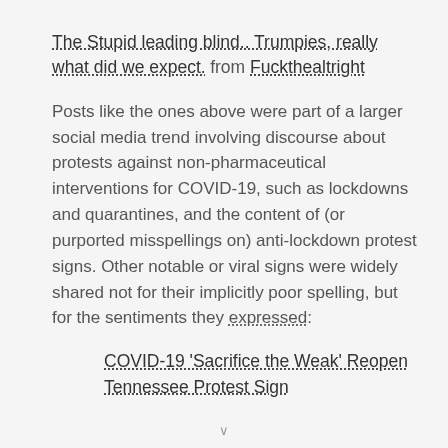The Stupid leading blind.. Trumpies, really what did we expect. from Fuckthealtright
Posts like the ones above were part of a larger social media trend involving discourse about protests against non-pharmaceutical interventions for COVID-19, such as lockdowns and quarantines, and the content of (or purported misspellings on) anti-lockdown protest signs. Other notable or viral signs were widely shared not for their implicitly poor spelling, but for the sentiments they expressed:
COVID-19 'Sacrifice the Weak' Reopen Tennessee Protest Sign